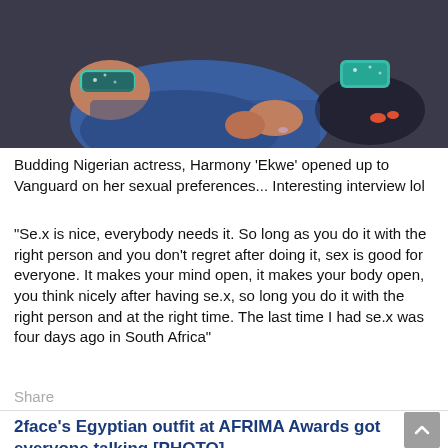[Figure (photo): Close-up photo of a person seated, wearing blue jeans and teal/sparkly accessories on wrists and feet, dark background]
Budding Nigerian actress, Harmony 'Ekwe' opened up to Vanguard on her sexual preferences... Interesting interview lol
"Se.x is nice, everybody needs it. So long as you do it with the right person and you don't regret after doing it, sex is good for everyone. It makes your mind open, it makes your body open, you think nicely after having se.x, so long you do it with the right person and at the right time. The last time I had se.x was four days ago in South Africa"
Share
2face's Egyptian outfit at AFRIMA Awards got everyone talking [PHOTO]
[Figure (photo): Partial photo of a wooden/fabric background, beginning of next article image]